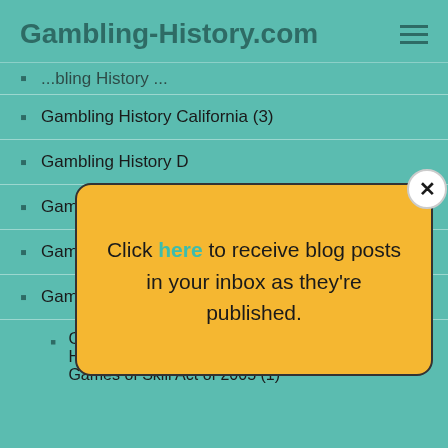Gambling-History.com
Gambling History California (3)
Gambling History D...
Gambling History G...
Gambling History: ...
Gambling Laws / Regulations (1)
Gambling Laws / Regulations: AK Local Option Horse Racing and Greyhound Racing Electronic Games of Skill Act of 2005 (1)
[Figure (infographic): Yellow popup dialog with close button (X) and text: Click here to receive blog posts in your inbox as they're published.]